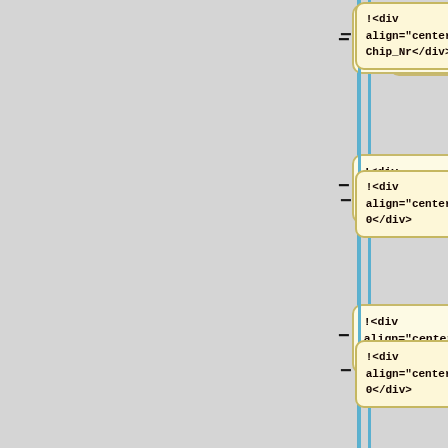[Figure (flowchart): Vertical flowchart diagram showing a sequence of node boxes connected by a vertical blue line with horizontal connectors. Each node contains HTML-like code snippets showing div elements with align=center attributes. Nodes from top to bottom contain: '!<div align="center">Chip_Nr</div>', '!<div align="center">0</div>', '!<div align="center">0</div>', '!<div align="center">Led_status.MSB</div>', '!<div align="center">Led_status.LSB</div>', '!<div align="center">' (partial, cut off at bottom).]